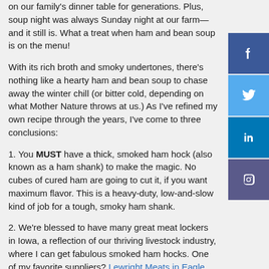on our family's dinner table for generations. Plus, soup night was always Sunday night at our farm—and it still is. What a treat when ham and bean soup is on the menu!
With its rich broth and smoky undertones, there's nothing like a hearty ham and bean soup to chase away the winter chill (or bitter cold, depending on what Mother Nature throws at us.) As I've refined my own recipe through the years, I've come to three conclusions:
1. You MUST have a thick, smoked ham hock (also known as a ham shank) to make the magic. No cubes of cured ham are going to cut it, if you want maximum flavor. This is a heavy-duty, low-and-slow kind of job for a tough, smoky ham shank.
2. We're blessed to have many great meat lockers in Iowa, a reflection of our thriving livestock industry, where I can get fabulous smoked ham hocks. One of my favorite suppliers? Lewright Meats in Eagle Grove, which has been serving northern Iowa since 1936.